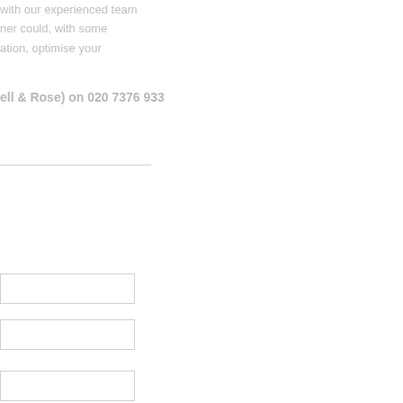with our experienced team
ner could, with some
ation, optimise your
ell & Rose) on 020 7376 933